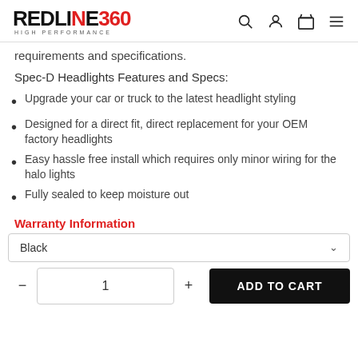REDLINE360 HIGH PERFORMANCE — navigation header with search, account, cart, and menu icons
requirements and specifications.
Spec-D Headlights Features and Specs:
Upgrade your car or truck to the latest headlight styling
Designed for a direct fit, direct replacement for your OEM factory headlights
Easy hassle free install which requires only minor wiring for the halo lights
Fully sealed to keep moisture out
Warranty Information
Black (dropdown selector)
- 1 + ADD TO CART